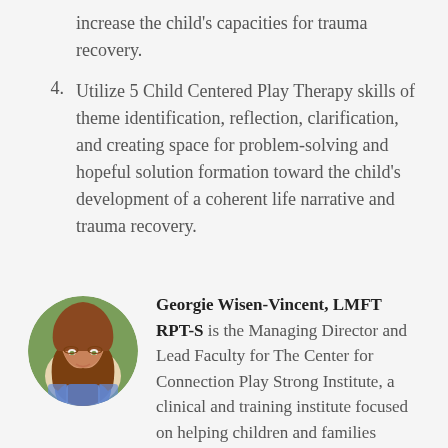increase the child's capacities for trauma recovery.
4. Utilize 5 Child Centered Play Therapy skills of theme identification, reflection, clarification, and creating space for problem-solving and hopeful solution formation toward the child's development of a coherent life narrative and trauma recovery.
[Figure (photo): Circular portrait photo of a woman with long auburn hair wearing a blue scarf, with green foliage in the background]
Georgie Wisen-Vincent, LMFT RPT-S is the Managing Director and Lead Faculty for The Center for Connection Play Strong Institute, a clinical and training institute focused on helping children and families